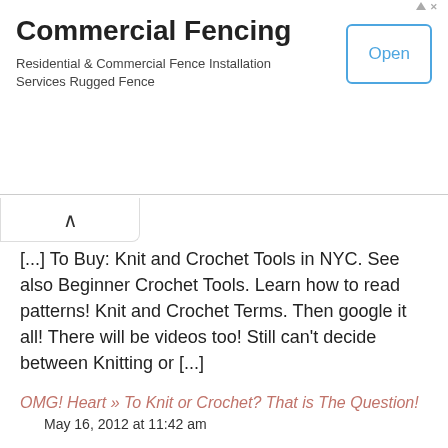[Figure (screenshot): Advertisement banner for Commercial Fencing with an Open button]
[...] To Buy: Knit and Crochet Tools in NYC. See also Beginner Crochet Tools. Learn how to read patterns! Knit and Crochet Terms. Then google it all! There will be videos too! Still can't decide between Knitting or [...]
OMG! Heart » To Knit or Crochet? That is The Question!
May 16, 2012 at 11:42 am
[...] Yarn Shops in NYC. My list on Where To Buy: Knit and Crochet Tools in NYC. How to read patterns in Knit and Crochet Terms My list of Beginner Crochet Tools and Beginner Knitting [...]